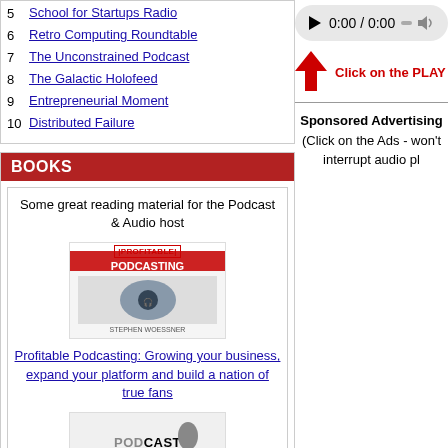5 School for Startups Radio
6 Retro Computing Roundtable
7 The Unconstrained Podcast
8 The Galactic Holofeed
9 Entrepreneurial Moment
10 Distributed Failure
BOOKS
Some great reading material for the Podcast & Audio host
[Figure (illustration): Book cover for Profitable Podcasting]
Profitable Podcasting: Growing your business, expand your platform and build a nation of true fans
[Figure (illustration): Book cover for Podcast (second book shown partially)]
[Figure (screenshot): Audio player showing 0:00 / 0:00 with play button and progress bar]
Click on the PLAY button to start your au
Sponsored Advertising
(Click on the Ads - won't interrupt audio pl